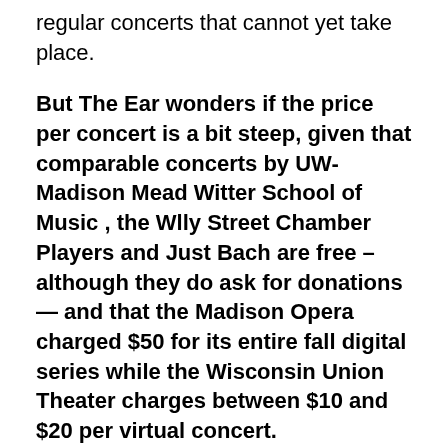regular concerts that cannot yet take place.
But The Ear wonders if the price per concert is a bit steep, given that comparable concerts by UW-Madison Mead Witter School of Music , the Wlly Street Chamber Players and Just Bach are free – although they do ask for donations — and that the Madison Opera charged $50 for its entire fall digital series while the Wisconsin Union Theater charges between $10 and $20 per virtual concert.
The Ear likes the eclectic programming, but also thinks it is kind of teasing and unsatisfying to offer just the first movement of such an organic masterpiece and profoundly beautiful work as the Schubert Cello Quintet. Doing one movement of a chamber music work somehow seems very different